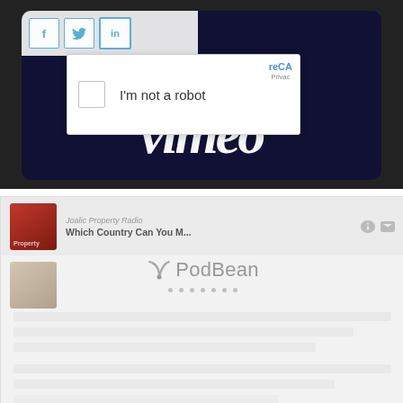[Figure (screenshot): Screenshot of a webpage showing social share buttons (Facebook, Twitter, LinkedIn), a CAPTCHA 'I'm not a robot' overlay, and the Vimeo logo on a dark navy background]
I'm not a robot
[Figure (screenshot): Screenshot of a PodBean podcast player showing a podcast episode titled 'Which Country Can You M...' with a thumbnail image, PodBean logo, and dots navigation indicator]
Joalic Property Radio
Which Country Can You M...